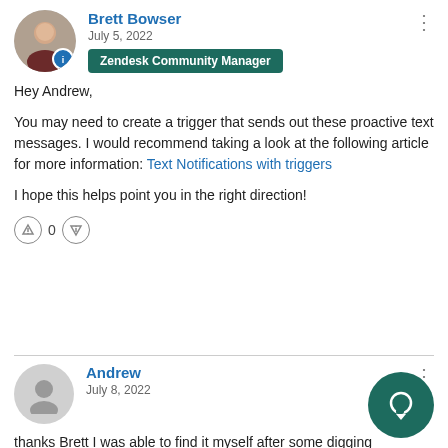Brett Bowser
July 5, 2022
Zendesk Community Manager
Hey Andrew,
You may need to create a trigger that sends out these proactive text messages. I would recommend taking a look at the following article for more information: Text Notifications with triggers
I hope this helps point you in the right direction!
0
Andrew
July 8, 2022
thanks Brett I was able to find it myself after some digging